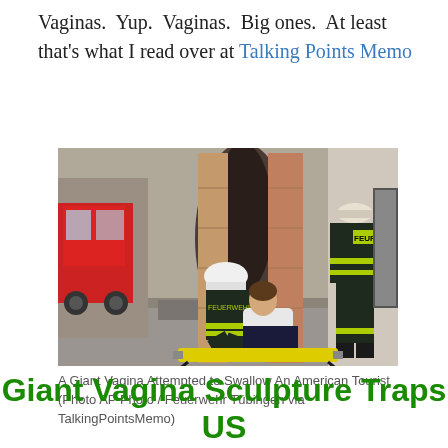Vaginas. Yup. Vaginas. Big ones. At least that's what I read over at Talking Points Memo
[Figure (photo): Firefighters in dark uniforms with yellow reflective stripes crouching next to a person near a large stone sculpture. A fire truck is visible in the background. One firefighter wears a helmet and a jacket labeled FEUERWEHR. A yellow stretcher is on the ground.]
A Giant Vagina Attempted to Swallow An American Tourist (Photo AP Photo / Feuerwehr Tübingen via TalkingPointsMemo)
Giant Vagina Sculpture Traps US